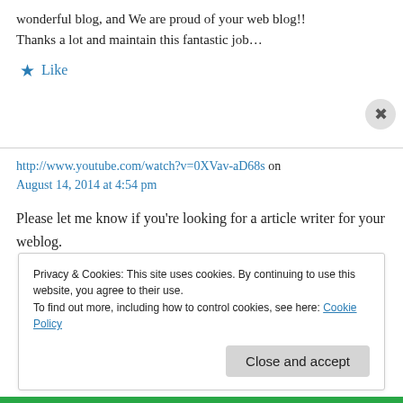wonderful blog, and We are proud of your web blog!!
Thanks a lot and maintain this fantastic job…
★ Like
http://www.youtube.com/watch?v=0XVav-aD68s on August 14, 2014 at 4:54 pm
Please let me know if you're looking for a article writer for your weblog.
Privacy & Cookies: This site uses cookies. By continuing to use this website, you agree to their use.
To find out more, including how to control cookies, see here: Cookie Policy
Close and accept